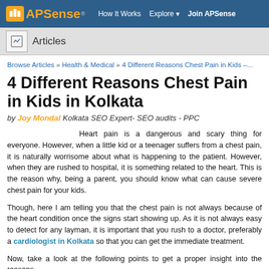APSense® | How It Works | Explore | Join APSense
Articles
Browse Articles » Health & Medical » 4 Different Reasons Chest Pain in Kids –...
4 Different Reasons Chest Pain in Kids in Kolkata
by Joy Mondal Kolkata SEO Expert- SEO audits - PPC
Heart pain is a dangerous and scary thing for everyone. However, when a little kid or a teenager suffers from a chest pain, it is naturally worrisome about what is happening to the patient. However, when they are rushed to hospital, it is something related to the heart. This is the reason why, being a parent, you should know what can cause severe chest pain for your kids.
Though, here I am telling you that the chest pain is not always because of the heart condition once the signs start showing up. As it is not always easy to detect for any layman, it is important that you rush to a doctor, preferably a cardiologist in Kolkata so that you can get the immediate treatment.
Now, take a look at the following points to get a proper insight into the reasons...